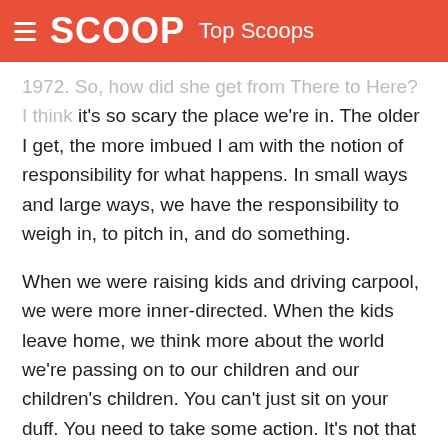SCOOP Top Scoops
1972. So, how did she get from There to Here? I think it's so scary the place we're in. The older I get, the more imbued I am with the notion of responsibility for what happens. In small ways and large ways, we have the responsibility to weigh in, to pitch in, and do something.
When we were raising kids and driving carpool, we were more inner-directed. When the kids leave home, we think more about the world we're passing on to our children and our children's children. You can't just sit on your duff. You need to take some action. It's not that I think that I personally made a difference. But when you see 200 people in this one county in Nevada,